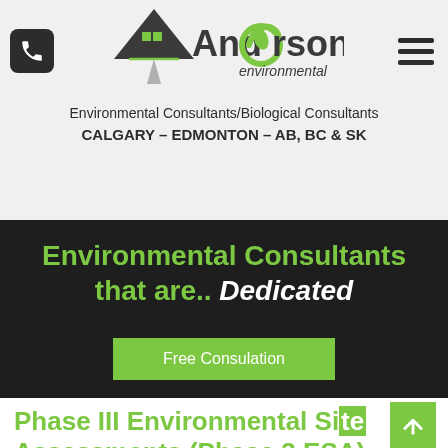[Figure (logo): Anderson Environmental logo with house/mountain icon and green leaf 'e']
Environmental Consultants/Biological Consultants
CALGARY – EDMONTON – AB, BC & SK
Environmental Consultants that are.. Dedicated
Free Consulation
Phase III Environmental Site Assessments (Phase 3 ESA)